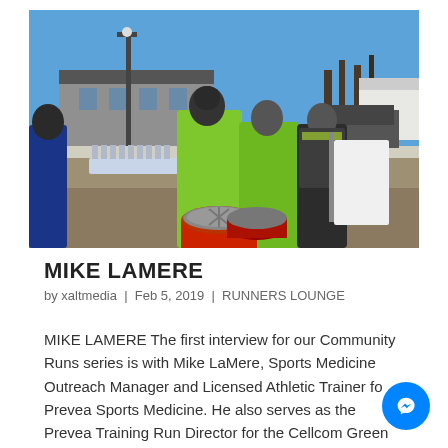[Figure (photo): Outdoor photo of people in neon green/yellow running vests and winter gear standing near a table and barrels at what appears to be a community run event. Clear blue sky and a building in the background.]
MIKE LAMERE
by xaltmedia | Feb 5, 2019 | RUNNERS LOUNGE
MIKE LAMERE The first interview for our Community Runs series is with Mike LaMere, Sports Medicine Outreach Manager and Licensed Athletic Trainer for Prevea Sports Medicine.  He also serves as the Prevea Training Run Director for the Cellcom Green